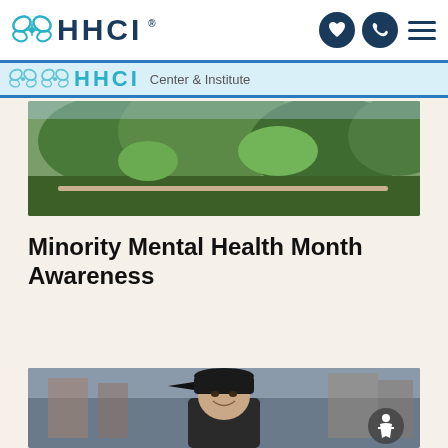HHCI
[Figure (photo): HHCI sub-header banner with butterfly logo and 'Center & Institute' text]
[Figure (photo): Outdoor garden/greenery scene, top hero image]
Minority Mental Health Month Awareness
[Figure (photo): Young Asian man wearing a dark baseball cap, smiling, outdoors with blurred urban background]